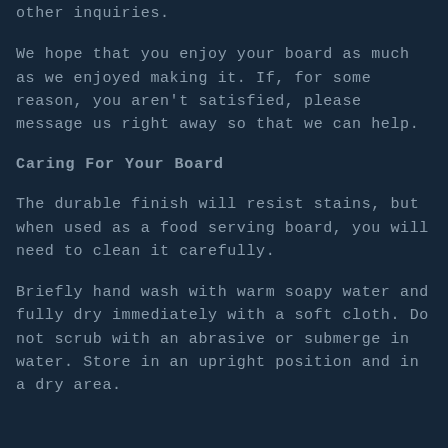Please send us your custom requests, process questions or other inquiries.
We hope that you enjoy your board as much as we enjoyed making it. If, for some reason, you aren't satisfied, please message us right away so that we can help.
Caring For Your Board
The durable finish will resist stains, but when used as a food serving board, you will need to clean it carefully.
Briefly hand wash with warm soapy water and fully dry immediately with a soft cloth. Do not scrub with an abrasive or submerge in water. Store in an upright position and in a dry area.